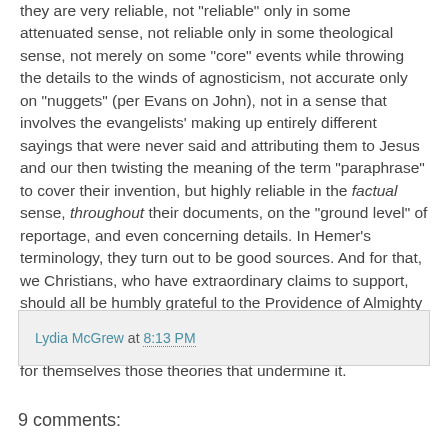they are very reliable, not 'reliable' only in some attenuated sense, not reliable only in some theological sense, not merely on some "core" events while throwing the details to the winds of agnosticism, not accurate only on "nuggets" (per Evans on John), not in a sense that involves the evangelists' making up entirely different sayings that were never said and attributing them to Jesus and our then twisting the meaning of the term "paraphrase" to cover their invention, but highly reliable in the factual sense, throughout their documents, on the "ground level" of reportage, and even concerning details. In Hemer's terminology, they turn out to be good sources. And for that, we Christians, who have extraordinary claims to support, should all be humbly grateful to the Providence of Almighty God. I urge readers to acknowledge the importance of the gospels' reliability in this sense and to question vigorously for themselves those theories that undermine it.
Lydia McGrew at 8:13 PM
9 comments: